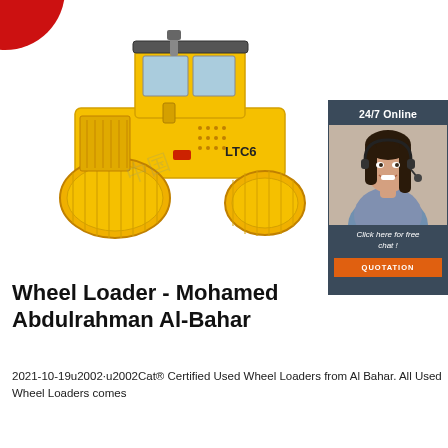[Figure (photo): Yellow road roller / compactor machine (LTC6 model) on white background, with a partial red badge/sticker visible in the top-left corner of the image area.]
[Figure (photo): Side panel advertisement with dark blue-grey background showing '24/7 Online' heading, a photo of a smiling woman with a headset, text 'Click here for free chat!' and an orange 'QUOTATION' button.]
Wheel Loader - Mohamed Abdulrahman Al-Bahar
2021-10-19u2002·u2002Cat® Certified Used Wheel Loaders from Al Bahar. All Used Wheel Loaders comes